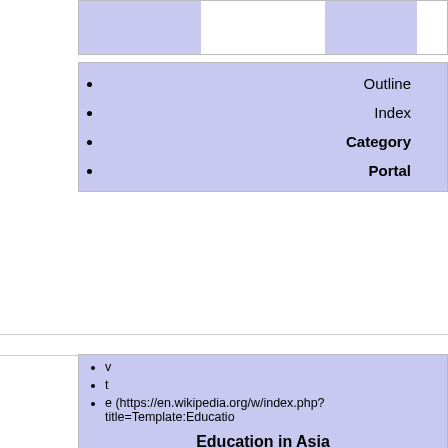Outline
Index
Category
Portal
v
t
e (https://en.wikipedia.org/w/index.php?title=Template:Educatio
Education in Asia
Afghanistan
Armenia
Azerbaijan
Bahrain
Bangladesh
Bhutan
Brunei